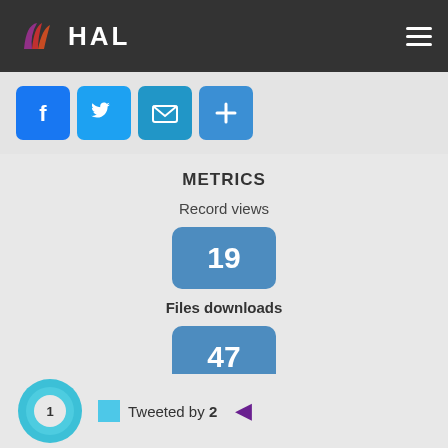HAL
[Figure (infographic): Social share buttons: Facebook, Twitter, Email, More (+)]
METRICS
Record views
[Figure (infographic): Badge showing number 19]
Files downloads
[Figure (infographic): Badge showing number 47]
[Figure (infographic): Altmetric donut badge with score 1, tweeted by 2 indicator with cyan square and purple arrow]